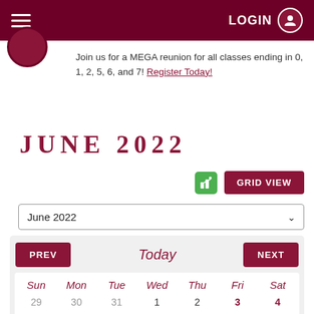LOGIN
Join us for a MEGA reunion for all classes ending in 0, 1, 2, 5, 6, and 7! Register Today!
JUNE 2022
GRID VIEW
June 2022
PREV | Today | NEXT
| Sun | Mon | Tue | Wed | Thu | Fri | Sat |
| --- | --- | --- | --- | --- | --- | --- |
| 29 | 30 | 31 | 1 | 2 | 3 | 4 |
| 5 | 6 | 7 | 8 | 9 | 10 | 11 |
| 12 | 13 | 14 | 15 | 16 | 17 | 18 |